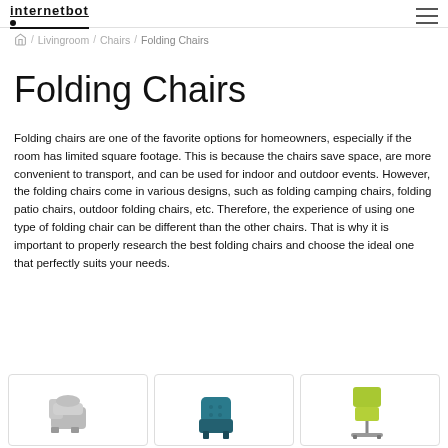internetbot / Livingroom / Chairs / Folding Chairs
Folding Chairs
Folding chairs are one of the favorite options for homeowners, especially if the room has limited square footage. This is because the chairs save space, are more convenient to transport, and can be used for indoor and outdoor events. However, the folding chairs come in various designs, such as folding camping chairs, folding patio chairs, outdoor folding chairs, etc. Therefore, the experience of using one type of folding chair can be different than the other chairs. That is why it is important to properly research the best folding chairs and choose the ideal one that perfectly suits your needs.
[Figure (photo): Gray recliner folding chair thumbnail]
[Figure (photo): Teal tufted accent chair thumbnail]
[Figure (photo): Green office folding chair thumbnail]